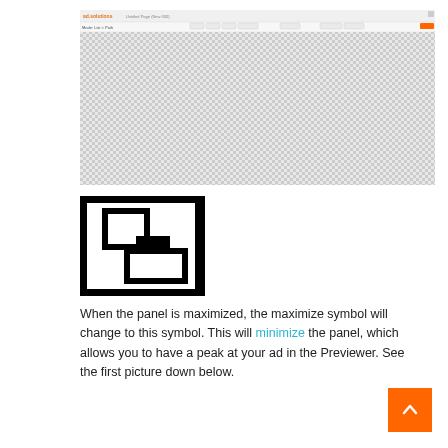[Figure (screenshot): Screenshot of ad.solutions web application interface showing a toolbar at top and a large checkered (transparent) canvas area below]
[Figure (illustration): Black and white icon showing a minimize/restore panel symbol — two overlapping rectangles with a connector bar, inside a thick-bordered square frame]
When the panel is maximized, the maximize symbol will change to this symbol. This will minimize the panel, which allows you to have a peak at your ad in the Previewer. See the first picture down below.